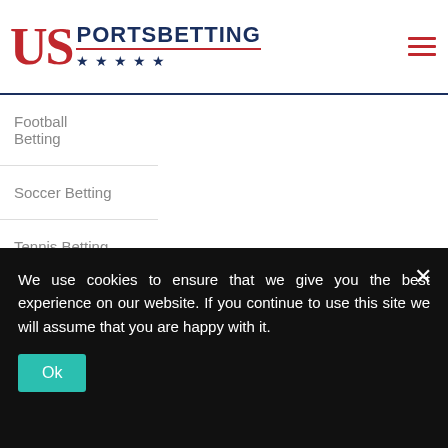US PORTSBETTING
Football Betting
Soccer Betting
Tennis Betting
WNBA Betting
This Week's Fantasy Football Rankings
We use cookies to ensure that we give you the best experience on our website. If you continue to use this site we will assume that you are happy with it.